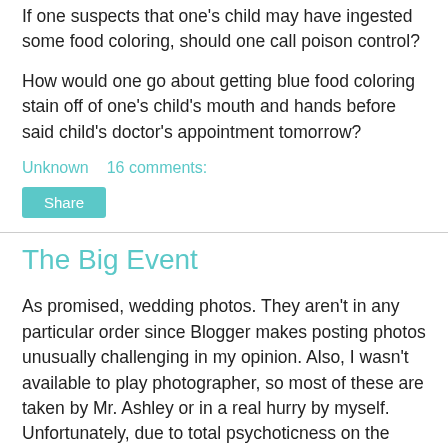If one suspects that one's child may have ingested some food coloring, should one call poison control?
How would one go about getting blue food coloring stain off of one's child's mouth and hands before said child's doctor's appointment tomorrow?
Unknown   16 comments:
Share
The Big Event
As promised, wedding photos. They aren't in any particular order since Blogger makes posting photos unusually challenging in my opinion. Also, I wasn't available to play photographer, so most of these are taken by Mr. Ashley or in a real hurry by myself. Unfortunately, due to total psychoticness on the Bargain Board lately, I have come to agree with Mr. Ashley's rule about not posting identifying photos. So you don't get to see how gorgeous Catfish is or